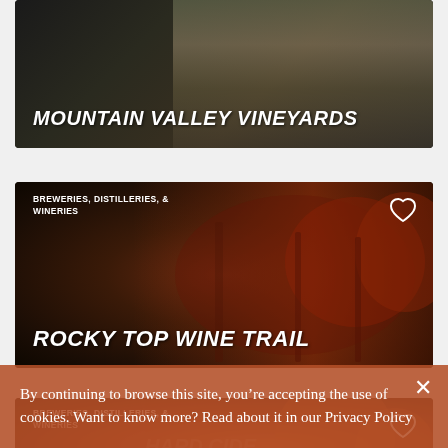[Figure (photo): Card with dark background showing wine bottles, titled MOUNTAIN VALLEY VINEYARDS]
[Figure (photo): Card with wine glasses filled with red wine, category BREWERIES, DISTILLERIES, & WINERIES, titled ROCKY TOP WINE TRAIL with heart icon]
[Figure (photo): Card with amber/cider drink background, category BREWERIES, DISTILLERIES, & WINERIES with heart icon]
By continuing to browse this site, you’re accepting the use of cookies. Want to know more? Read about it in our Privacy Policy